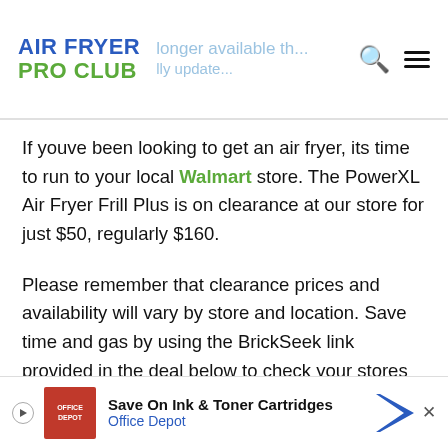AIR FRYER PRO CLUB
If youve been looking to get an air fryer, its time to run to your local Walmart store. The PowerXL Air Fryer Frill Plus is on clearance at our store for just $50, regularly $160.
Please remember that clearance prices and availability will vary by store and location. Save time and gas by using the BrickSeek link provided in the deal below to check your stores inventory before you head out the door.
Recommended Reading: America's Test Kitchen Deep Fryer
Powerxl Grill Air Fryer At Walmart
[Figure (other): Office Depot advertisement banner: Save On Ink & Toner Cartridges, Office Depot]